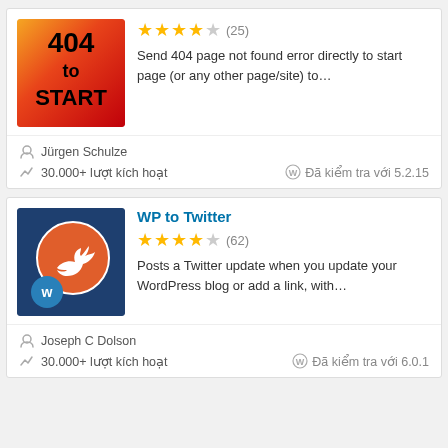[Figure (illustration): 404 to START plugin icon - red/orange gradient background with black text '404 to START']
Send 404 page not found error directly to start page (or any other page/site) to…
Jürgen Schulze
30.000+ lượt kích hoạt
Đã kiểm tra với 5.2.15
[Figure (illustration): WP to Twitter plugin icon - dark blue background with orange circle containing white Twitter bird logo, and small blue circle with W logo]
WP to Twitter
Posts a Twitter update when you update your WordPress blog or add a link, with…
Joseph C Dolson
30.000+ lượt kích hoạt
Đã kiểm tra với 6.0.1